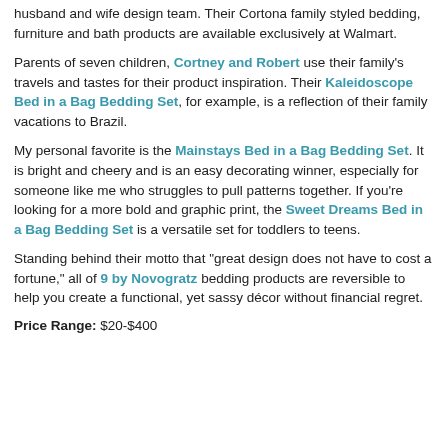husband and wife design team. Their Cortona family styled bedding, furniture and bath products are available exclusively at Walmart.
Parents of seven children, Cortney and Robert use their family's travels and tastes for their product inspiration. Their Kaleidoscope Bed in a Bag Bedding Set, for example, is a reflection of their family vacations to Brazil.
My personal favorite is the Mainstays Bed in a Bag Bedding Set. It is bright and cheery and is an easy decorating winner, especially for someone like me who struggles to pull patterns together. If you're looking for a more bold and graphic print, the Sweet Dreams Bed in a Bag Bedding Set is a versatile set for toddlers to teens.
Standing behind their motto that "great design does not have to cost a fortune," all of 9 by Novogratz bedding products are reversible to help you create a functional, yet sassy décor without financial regret.
Price Range: $20-$400